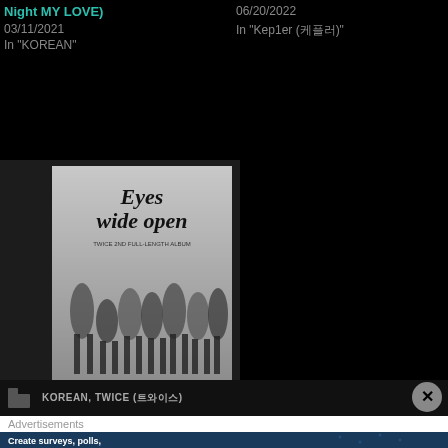Night MY LOVE)
03/11/2021
In "KOREAN"
06/20/2022
In "Kep1er (케플러)"
[Figure (photo): Eyes Wide Open album cover by TWICE showing group members seated and standing, wearing formal/semi-formal attire]
TWICE (트와이스) – HELL IN HEAVEN
10/26/2020
In "KOREAN"
KOREAN, TWICE (트와이스)
Advertisements
Create surveys, polls, quizzes, and forms.